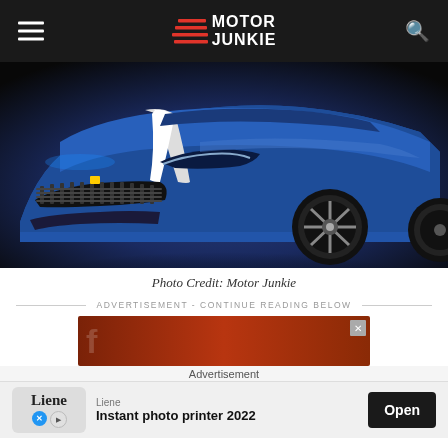Motor Junkie
[Figure (photo): Blue Ferrari sports car (F60 America or similar) with white racing stripe on hood, shot from front-three-quarter angle on dark background]
Photo Credit: Motor Junkie
ADVERTISEMENT - CONTINUE READING BELOW
[Figure (screenshot): Advertisement banner with brown/red background]
Advertisement
[Figure (screenshot): Liene Instant photo printer 2022 app install ad with Open button]